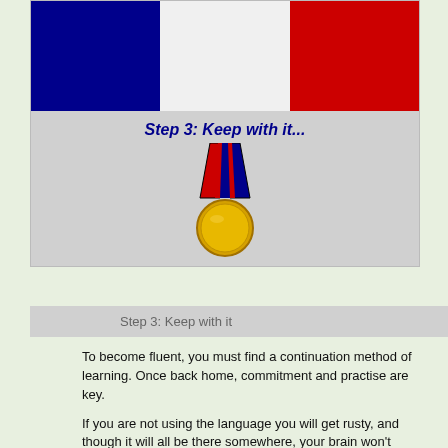[Figure (illustration): French tricolor flag (blue, white, red) above a Step 3 heading and a gold medal illustration with red/blue ribbon]
Step 3: Keep with it
To become fluent, you must find a continuation method of learning. Once back home, commitment and practise are key.
If you are not using the language you will get rusty, and though it will all be there somewhere, your brain won't access it quickly enough to converse and you'll sadly lose your French flare.
Yet, we live in a global world, with tech connections. The web, the DAB radio, French news is all accessible.
There are numerous language learning software packages that can be purchased or downloaded onto your phone/laptop. Duolingo, an app that can be downloaded onto your phone is